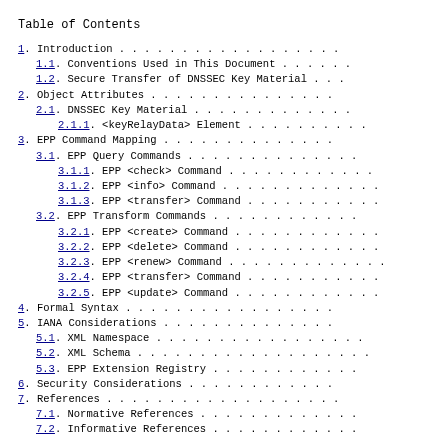Table of Contents
1. Introduction
1.1. Conventions Used in This Document
1.2. Secure Transfer of DNSSEC Key Material
2. Object Attributes
2.1. DNSSEC Key Material
2.1.1. <keyRelayData> Element
3. EPP Command Mapping
3.1. EPP Query Commands
3.1.1. EPP <check> Command
3.1.2. EPP <info> Command
3.1.3. EPP <transfer> Command
3.2. EPP Transform Commands
3.2.1. EPP <create> Command
3.2.2. EPP <delete> Command
3.2.3. EPP <renew> Command
3.2.4. EPP <transfer> Command
3.2.5. EPP <update> Command
4. Formal Syntax
5. IANA Considerations
5.1. XML Namespace
5.2. XML Schema
5.3. EPP Extension Registry
6. Security Considerations
7. References
7.1. Normative References
7.2. Informative References